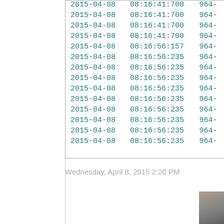| Date | Time | ID |
| --- | --- | --- |
| 2015-04-08 | 08:16:41:700 | 964- |
| 2015-04-08 | 08:16:41:700 | 964- |
| 2015-04-08 | 08:16:41:700 | 964- |
| 2015-04-08 | 08:16:41:700 | 964- |
| 2015-04-08 | 08:16:56:157 | 964- |
| 2015-04-08 | 08:16:56:235 | 964- |
| 2015-04-08 | 08:16:56:235 | 964- |
| 2015-04-08 | 08:16:56:235 | 964- |
| 2015-04-08 | 08:16:56:235 | 964- |
| 2015-04-08 | 08:16:56:235 | 964- |
| 2015-04-08 | 08:16:56:235 | 964- |
| 2015-04-08 | 08:16:56:235 | 964- |
| 2015-04-08 | 08:16:56:235 | 964- |
| 2015-04-08 | 08:16:56:235 | 964- |
Wednesday, April 8, 2015 2:20 PM
[Figure (photo): Small photo thumbnail of a person, partially visible in the bottom-right corner]